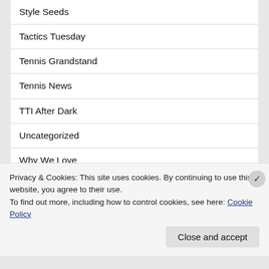Style Seeds
Tactics Tuesday
Tennis Grandstand
Tennis News
TTI After Dark
Uncategorized
Why We Love
WTA Editorial
WTF Wednesdays
Year In Review
Privacy & Cookies: This site uses cookies. By continuing to use this website, you agree to their use.
To find out more, including how to control cookies, see here: Cookie Policy
Close and accept